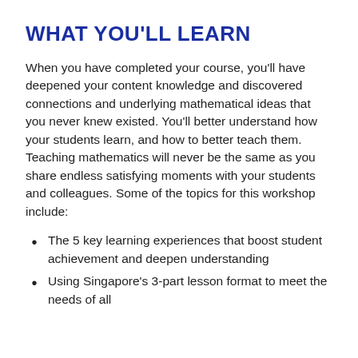WHAT YOU'LL LEARN
When you have completed your course, you'll have deepened your content knowledge and discovered connections and underlying mathematical ideas that you never knew existed. You'll better understand how your students learn, and how to better teach them. Teaching mathematics will never be the same as you share endless satisfying moments with your students and colleagues. Some of the topics for this workshop include:
The 5 key learning experiences that boost student achievement and deepen understanding
Using Singapore's 3-part lesson format to meet the needs of all